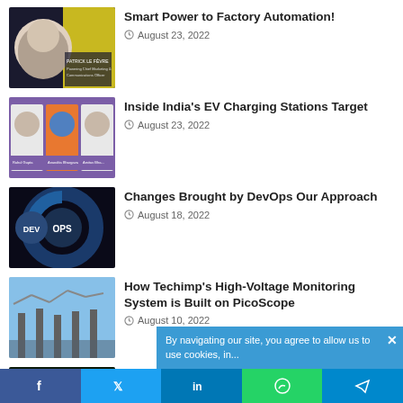[Figure (photo): Article thumbnail: person with yellow graphic background - Smart Power to Factory Automation]
Smart Power to Factory Automation!
August 23, 2022
[Figure (photo): Article thumbnail: three people panel - Inside India's EV Charging Stations Target]
Inside India's EV Charging Stations Target
August 23, 2022
[Figure (photo): Article thumbnail: DevOps infinity loop diagram]
Changes Brought by DevOps Our Approach
August 18, 2022
[Figure (photo): Article thumbnail: high voltage power lines]
How Techimp's High-Voltage Monitoring System is Built on PicoScope
August 10, 2022
[Figure (photo): Article thumbnail: EV charging green background]
Using Stored Solar Energy to Meet the Demands of EV Fast Charg…
Cookie banner: By navigating our site, you agree to allow us to use cookies in...
Social share bar: Facebook, Twitter, LinkedIn, WhatsApp, Telegram